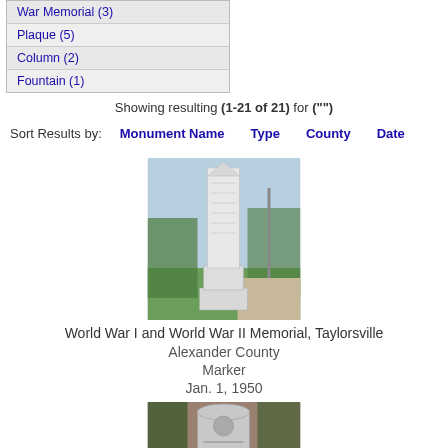War Memorial (3)
Plaque (5)
Column (2)
Fountain (1)
Showing resulting (1-21 of 21) for ("")
Sort Results by:  Monument Name   Type   County   Date
[Figure (photo): Stone obelisk war memorial monument on a pedestal, outdoors with green grass and trees in background, Taylorsville]
World War I and World War II Memorial, Taylorsville
Alexander County
Marker
Jan. 1, 1950
[Figure (photo): Granite gravestone marker with inscriptions, outdoors with trees in background]